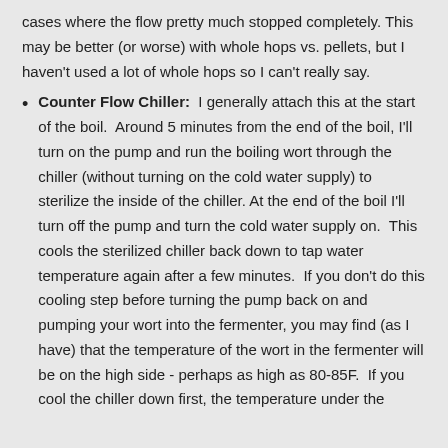cases where the flow pretty much stopped completely. This may be better (or worse) with whole hops vs. pellets, but I haven't used a lot of whole hops so I can't really say.
Counter Flow Chiller:  I generally attach this at the start of the boil.  Around 5 minutes from the end of the boil, I'll turn on the pump and run the boiling wort through the chiller (without turning on the cold water supply) to sterilize the inside of the chiller. At the end of the boil I'll turn off the pump and turn the cold water supply on.  This cools the sterilized chiller back down to tap water temperature again after a few minutes.  If you don't do this cooling step before turning the pump back on and pumping your wort into the fermenter, you may find (as I have) that the temperature of the wort in the fermenter will be on the high side - perhaps as high as 80-85F.  If you cool the chiller down first, the temperature under the